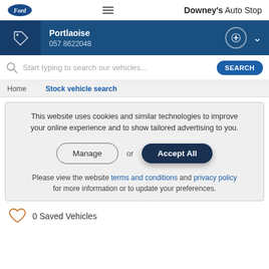Downey's Auto Stop
Portlaoise
057 8622048
Start typing to search our vehicles...
Home  Stock vehicle search
This website uses cookies and similar technologies to improve your online experience and to show tailored advertising to you.
Manage  or  Accept All
Please view the website terms and conditions and privacy policy for more information or to update your preferences.
0 Saved Vehicles